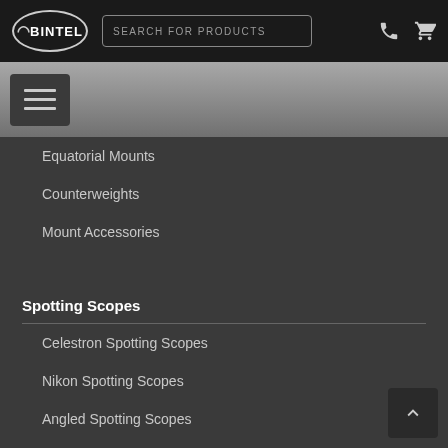BINTEL — SEARCH FOR PRODUCTS
Equatorial Mounts
Counterweights
Mount Accessories
Spotting Scopes
Celestron Spotting Scopes
Nikon Spotting Scopes
Angled Spotting Scopes
Swarovski Spotting Scopes